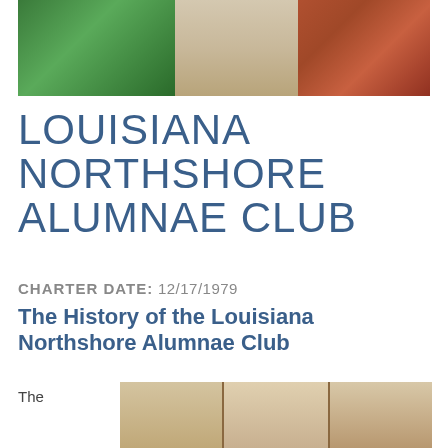[Figure (photo): Top photo showing people in green, beige/grey, and red patterned clothing, cropped at torso level]
LOUISIANA NORTHSHORE ALUMNAE CLUB
CHARTER DATE: 12/17/1979
The History of the Louisiana Northshore Alumnae Club
The
[Figure (photo): Group photo of several women standing together indoors, with framed pictures on the wall behind them]